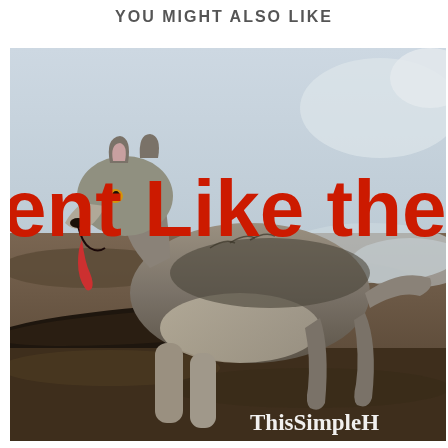YOU MIGHT ALSO LIKE
[Figure (photo): A wolf running/trotting with its mouth open and tongue out, in a winter outdoor setting with snow and rocky ground. Bold red text overlaid reads 'ent Like the Wol' (partially cropped). Bottom right corner shows partial watermark 'ThisSimpleH'.]